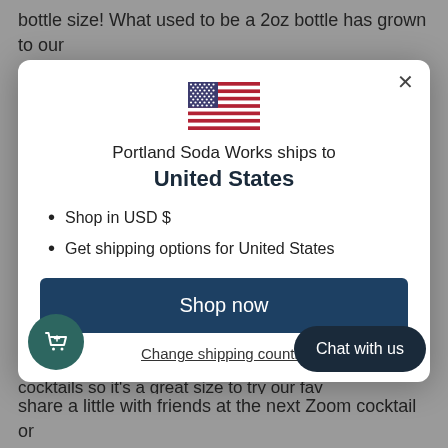bottle size!  What used to be a 2oz bottle has grown to our
[Figure (screenshot): Modal dialog showing US flag, text 'Portland Soda Works ships to United States', bullet points 'Shop in USD $' and 'Get shipping options for United States', a 'Shop now' button, and a 'Change shipping country' link.]
Shop in USD $
Get shipping options for United States
cocktails so it's a great size to try our fav
share a little with friends at the next Zoom cocktail or